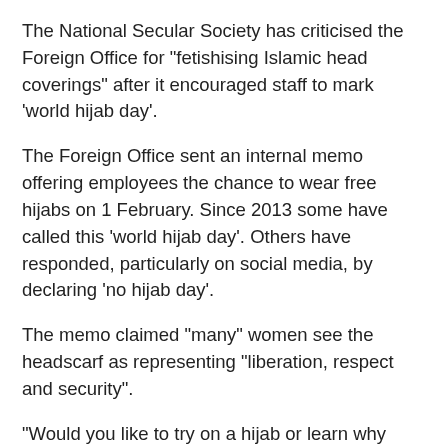The National Secular Society has criticised the Foreign Office for "fetishising Islamic head coverings" after it encouraged staff to mark 'world hijab day'.
The Foreign Office sent an internal memo offering employees the chance to wear free hijabs on 1 February. Since 2013 some have called this 'world hijab day'. Others have responded, particularly on social media, by declaring 'no hijab day'.
The memo claimed "many" women see the headscarf as representing "liberation, respect and security".
"Would you like to try on a hijab or learn why Muslim women wear the headscarf? Come along to our walk-in event. Free scarves for all those that choose to wear it for the day or part of the day.
"Muslim women, along with followers of many other religions, choose to wear the hijab. Many find liberation